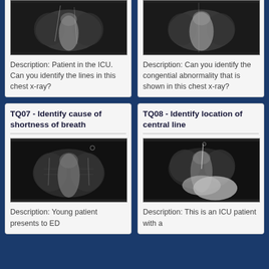[Figure (photo): Chest X-ray image - ICU patient with lines]
Description: Patient in the ICU. Can you identify the lines in this chest x-ray?
[Figure (photo): Chest X-ray image - congenital abnormality]
Description: Can you identify the congential abnormality that is shown in this chest x-ray?
TQ07 - Identify cause of shortness of breath
[Figure (photo): Chest X-ray image - shortness of breath]
Description: Young patient presents to ED
TQ08 - Identify location of central line
[Figure (photo): Chest X-ray image - central line location]
Description: This is an ICU patient with a